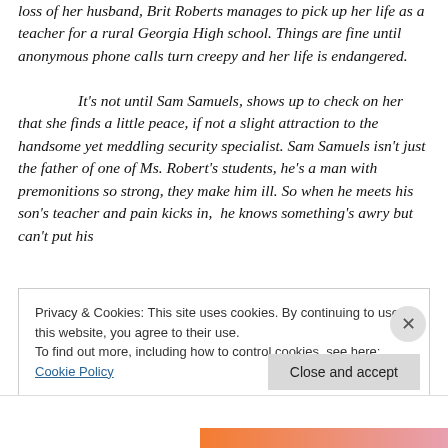loss of her husband, Brit Roberts manages to pick up her life as a teacher for a rural Georgia High school. Things are fine until anonymous phone calls turn creepy and her life is endangered.
It's not until Sam Samuels, shows up to check on her that she finds a little peace, if not a slight attraction to the handsome yet meddling security specialist. Sam Samuels isn't just the father of one of Ms. Robert's students, he's a man with premonitions so strong, they make him ill. So when he meets his son's teacher and pain kicks in, he knows something's awry but can't put his
Privacy & Cookies: This site uses cookies. By continuing to use this website, you agree to their use.
To find out more, including how to control cookies, see here: Cookie Policy